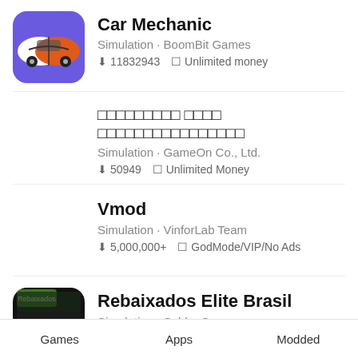Car Mechanic · Simulation · BoomBit Games · 11832943 · Unlimited money
□□□□□□□□□ □□□□ □□□□□□□□□□□□□□□□ · Simulation · GameOn Co., Ltd. · 50949 · Unlimited Money
Vmod · Simulation · VinforLab Team · 5,000,000+ · GodMode/VIP/No Ads
Rebaixados Elite Brasil · Simulation · Sebby Games · 10,000,000+ · Unlimited Money
bbon.pro
Games    Apps    Modded